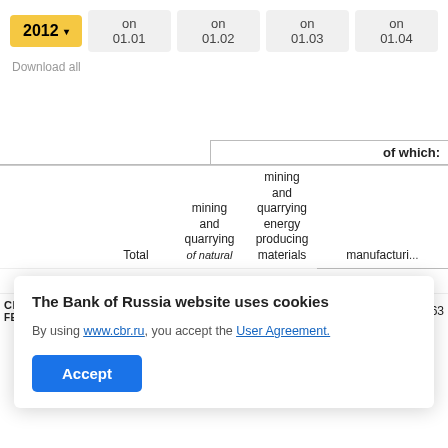2012 ▾
on 01.01
on 01.02
on 01.03
on 01.04
Download all
|  | Total | mining and quarrying of natural... | mining and quarrying energy producing materials | manufacturin... |
| --- | --- | --- | --- | --- |
| CENTRAL FEDERAL... | 2,029,510 | 181,334 | 158,369 | 268,263 |
The Bank of Russia website uses cookies
By using www.cbr.ru, you accept the User Agreement.